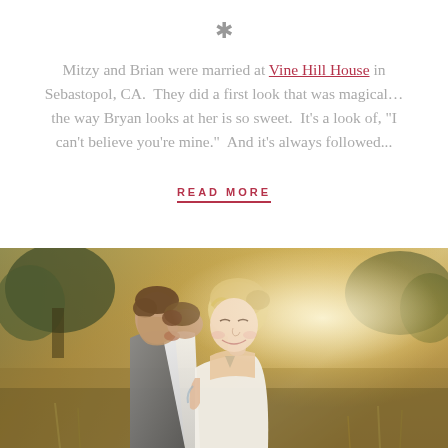*
Mitzy and Brian were married at Vine Hill House in Sebastopol, CA.  They did a first look that was magical…the way Bryan looks at her is so sweet.  It’s a look of, “I can’t believe you’re mine.”  And it’s always followed...
READ MORE
[Figure (photo): Wedding couple outdoors in golden sunlight field; groom in grey vest kissing bride on cheek, bride with blonde updo in white dress smiling, warm bokeh background]